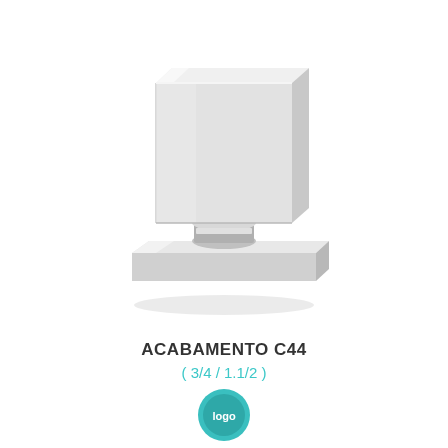[Figure (photo): Chrome square faucet handle/trim piece (Acabamento C44) with a cubic upper body and square base plate, shown in polished chrome finish on white background]
ACABAMENTO C44
( 3/4 / 1.1/2 )
[Figure (logo): Circular brand logo at bottom center, teal/green color]